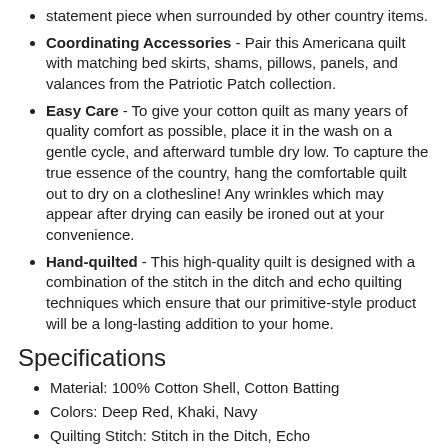statement piece when surrounded by other country items.
Coordinating Accessories - Pair this Americana quilt with matching bed skirts, shams, pillows, panels, and valances from the Patriotic Patch collection.
Easy Care - To give your cotton quilt as many years of quality comfort as possible, place it in the wash on a gentle cycle, and afterward tumble dry low. To capture the true essence of the country, hang the comfortable quilt out to dry on a clothesline! Any wrinkles which may appear after drying can easily be ironed out at your convenience.
Hand-quilted - This high-quality quilt is designed with a combination of the stitch in the ditch and echo quilting techniques which ensure that our primitive-style product will be a long-lasting addition to your home.
Specifications
Material: 100% Cotton Shell, Cotton Batting
Colors: Deep Red, Khaki, Navy
Quilting Stitch: Stitch in the Ditch, Echo
Manufacturer Country: India